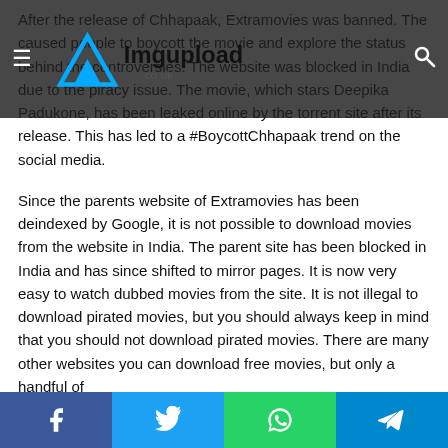Imgupload co.uk [logo with hamburger menu and search icon]
After the release of Chhapaak, Extramovies was banned. This caused people to boycott the movie and explore the status behind the controversies. The website was blocked in India due to the piracy issue. The movie, which stars Deepika Padukone, has been leaked online by the torrent site after its release. This has led to a #BoycottChhapaak trend on the social media.
Since the parents website of Extramovies has been deindexed by Google, it is not possible to download movies from the website in India. The parent site has been blocked in India and has since shifted to mirror pages. It is now very easy to watch dubbed movies from the site. It is not illegal to download pirated movies, but you should always keep in mind that you should not download pirated movies. There are many other websites you can download free movies, but only a handful of
Facebook | Twitter | WhatsApp | Telegram